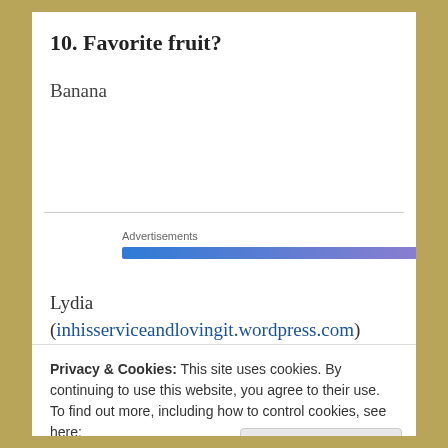10. Favorite fruit?
Banana
Advertisements
Lydia (inhisserviceandlovingit.wordpress.com) nominated me for the Mystery Blogger Award.
Privacy & Cookies: This site uses cookies. By continuing to use this website, you agree to their use.
To find out more, including how to control cookies, see here:
Cookie Policy
Close and accept
[Figure (other): Partial image of a dark blue banner with gold letters spelling MYSTERY]